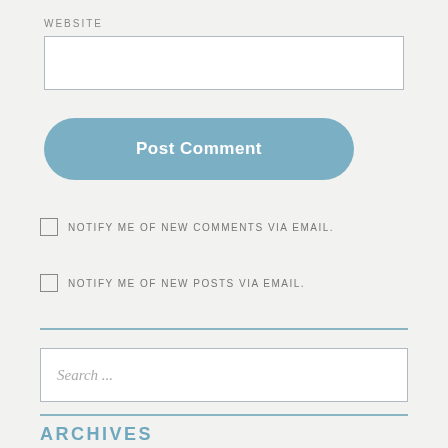WEBSITE
[Figure (other): Website input text field (empty)]
[Figure (other): Post Comment button, blue rounded rectangle]
NOTIFY ME OF NEW COMMENTS VIA EMAIL.
NOTIFY ME OF NEW POSTS VIA EMAIL.
[Figure (other): Search input field with placeholder text 'Search ...']
ARCHIVES